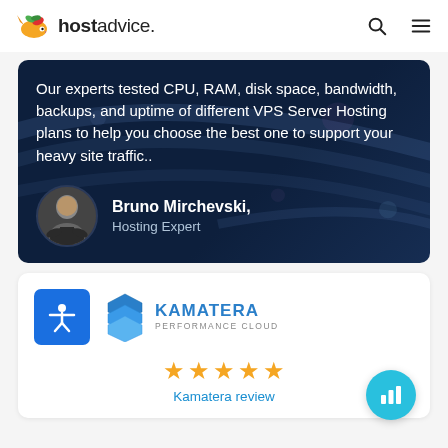hostadvice.
Our experts tested CPU, RAM, disk space, bandwidth, backups, and uptime of different VPS Server Hosting plans to help you choose the best one to support your heavy site traffic..
Bruno Mirchevski, Hosting Expert
[Figure (logo): Kamatera Performance Cloud logo with blue hexagonal shield icon and text KAMATERA PERFORMANCE CLOUD]
[Figure (other): Five golden star rating]
Kamatera review